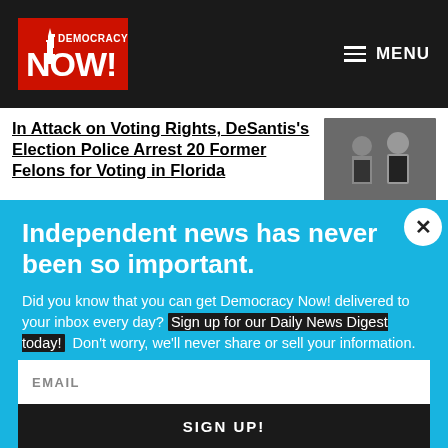Democracy Now! — MENU
In Attack on Voting Rights, DeSantis's Election Police Arrest 20 Former Felons for Voting in Florida
Independent news has never been so important.
Did you know that you can get Democracy Now! delivered to your inbox every day? Sign up for our Daily News Digest today! Don't worry, we'll never share or sell your information.